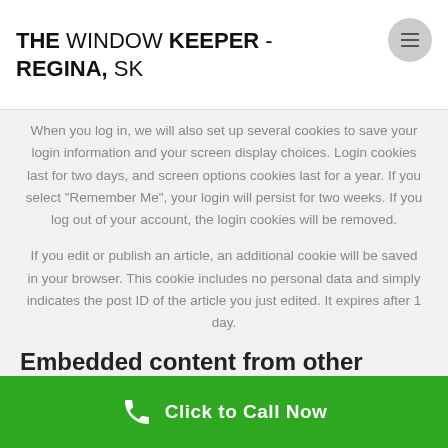THE WINDOW KEEPER - REGINA, SK
When you log in, we will also set up several cookies to save your login information and your screen display choices. Login cookies last for two days, and screen options cookies last for a year. If you select “Remember Me”, your login will persist for two weeks. If you log out of your account, the login cookies will be removed.
If you edit or publish an article, an additional cookie will be saved in your browser. This cookie includes no personal data and simply indicates the post ID of the article you just edited. It expires after 1 day.
Embedded content from other websites
Articles on this site may include embedded content (e.g. videos,
Click to Call Now